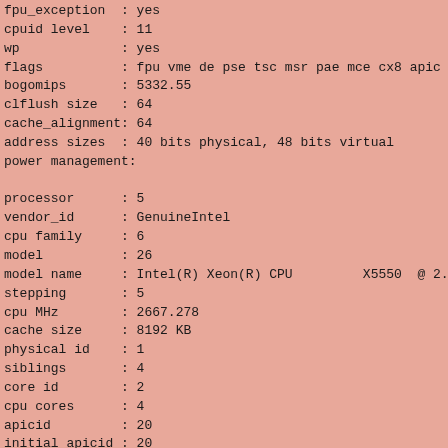fpu_exception : yes
cpuid level   : 11
wp             : yes
flags          : fpu vme de pse tsc msr pae mce cx8 apic mtr
bogomips       : 5332.55
clflush size   : 64
cache_alignment: 64
address sizes  : 40 bits physical, 48 bits virtual
power management:

processor      : 5
vendor_id      : GenuineIntel
cpu family     : 6
model          : 26
model name     : Intel(R) Xeon(R) CPU         X5550  @ 2.6
stepping       : 5
cpu MHz        : 2667.278
cache size     : 8192 KB
physical id    : 1
siblings       : 4
core id        : 2
cpu cores      : 4
apicid         : 20
initial apicid : 20
fpu            : yes
fpu_exception  : yes
cpuid level    : 11
wp             : yes
flags          : fpu vme de pse tsc msr pae mce cx8 apic mtr
bogomips       : 5332.55
clflush size   : 64
cache_alignment: 64